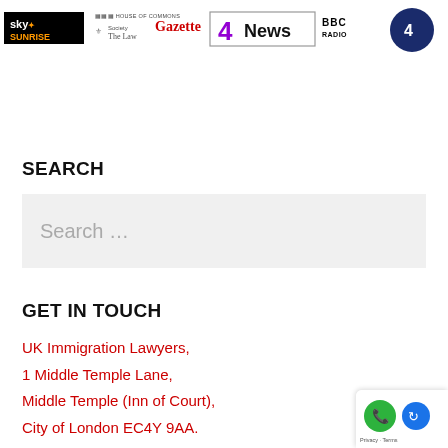[Figure (logo): Media logos: Sky Sunrise, House of Commons, The Law Society Gazette, Channel 4 News, BBC Radio 4]
SEARCH
[Figure (other): Search input box with placeholder text 'Search ...']
GET IN TOUCH
UK Immigration Lawyers,
1 Middle Temple Lane,
Middle Temple (Inn of Court),
City of London EC4Y 9AA.
[Figure (other): Phone/chat widget with green phone icon and blue arrow icon, Privacy · Terms text]